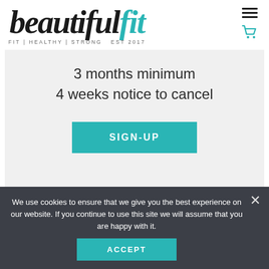[Figure (logo): Beautiful Fit logo with black cursive 'beautiful' and teal cursive 'fit' text, tagline: FIT | HEALTHY | STRONG EST 2017]
3 months minimum
4 weeks notice to cancel
SIGN-UP
We use cookies to ensure that we give you the best experience on our website. If you continue to use this site we will assume that you are happy with it.
ACCEPT